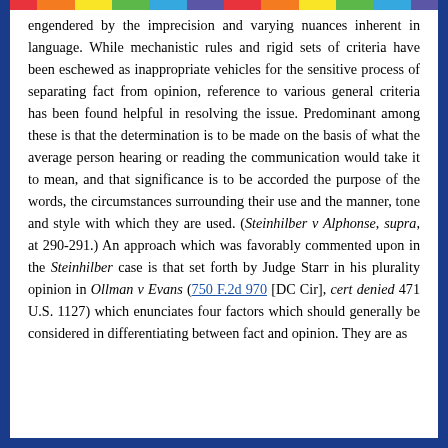engendered by the imprecision and varying nuances inherent in language. While mechanistic rules and rigid sets of criteria have been eschewed as inappropriate vehicles for the sensitive process of separating fact from opinion, reference to various general criteria has been found helpful in resolving the issue. Predominant among these is that the determination is to be made on the basis of what the average person hearing or reading the communication would take it to mean, and that significance is to be accorded the purpose of the words, the circumstances surrounding their use and the manner, tone and style with which they are used. (Steinhilber v Alphonse, supra, at 290-291.) An approach which was favorably commented upon in the Steinhilber case is that set forth by Judge Starr in his plurality opinion in Ollman v Evans (750 F.2d 970 [DC Cir], cert denied 471 U.S. 1127) which enunciates four factors which should generally be considered in differentiating between fact and opinion. They are as